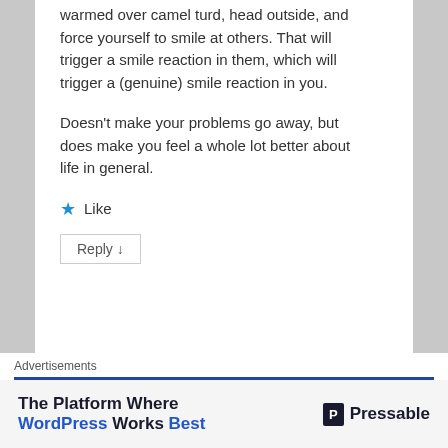warmed over camel turd, head outside, and force yourself to smile at others. That will trigger a smile reaction in them, which will trigger a (genuine) smile reaction in you.

Doesn't make your problems go away, but does make you feel a whole lot better about life in general.
★ Like
Reply ↓
Advertisements
[Figure (other): Advertisement banner for Pressable: 'The Platform Where WordPress Works Best' with Pressable logo]